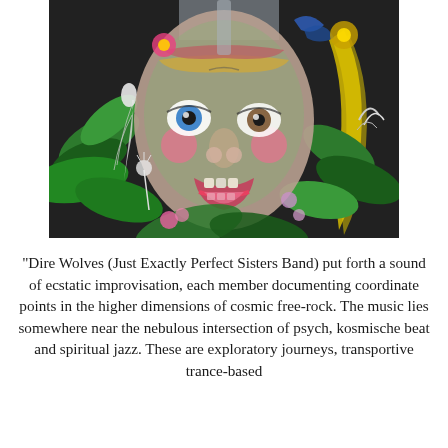[Figure (illustration): A colorful, psychedelic painting of a human face surrounded by tropical plants, flowers, and feathers. The face has exaggerated features including wide eyes, a prominent nose, and an open mouth showing teeth. The palette includes bright pinks, greens, yellows, blues, and blacks in an expressive, abstract style.]
“Dire Wolves (Just Exactly Perfect Sisters Band) put forth a sound of ecstatic improvisation, each member documenting coordinate points in the higher dimensions of cosmic free-rock. The music lies somewhere near the nebulous intersection of psych, kosmische beat and spiritual jazz. These are exploratory journeys, transportive trance-based